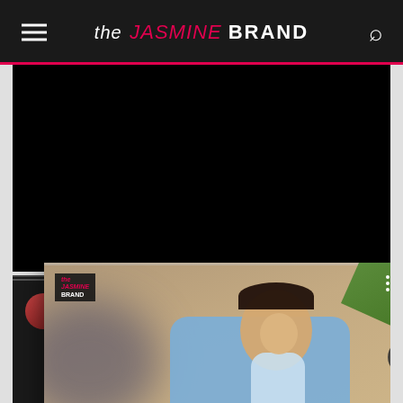the JASMINE BRAND
[Figure (screenshot): Screenshot of theJasmineBrand.com website showing a popup article card over a dark video background. The popup shows a woman holding a baby with the headline 'Meghan Markle Reflects On The Time Royal Duties Once Forced Her To Leave 4-Month-Old So...' Below is a comment section showing username 'tomnlee_3h'.]
Meghan Markle Reflects On The Time Royal Duties Once Forced Her To Leave 4-Month-Old So...